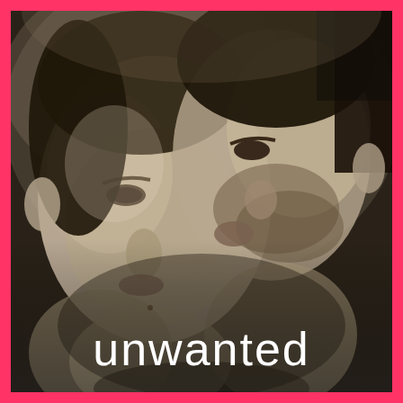[Figure (photo): Black and white close-up photograph of two men with their faces close together, one appearing to kiss or nuzzle the cheek/face of the other. Both men have dark hair, one with a beard. They appear shirtless or lightly clothed. The image is intimate and romantic in nature.]
unwanted